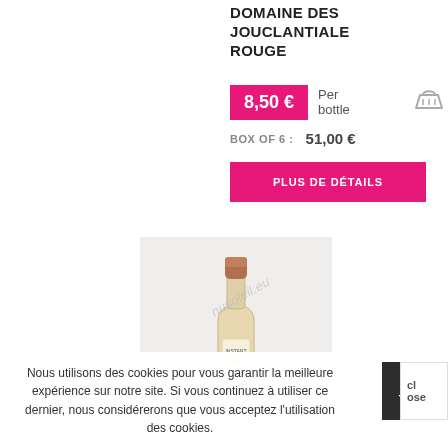DOMAINE DES JOUCLANTIALE ROUGE
8,50 € Per bottle
BOX OF 6 : 51,00 €
PLUS DE DÉTAILS
[Figure (photo): Wine bottle with rose/white wine, copper foil capsule, white label, watermark 'nusoleil.eu' on image, displayed on light gray background]
Nous utilisons des cookies pour vous garantir la meilleure expérience sur notre site. Si vous continuez à utiliser ce dernier, nous considérerons que vous acceptez l'utilisation des cookies.